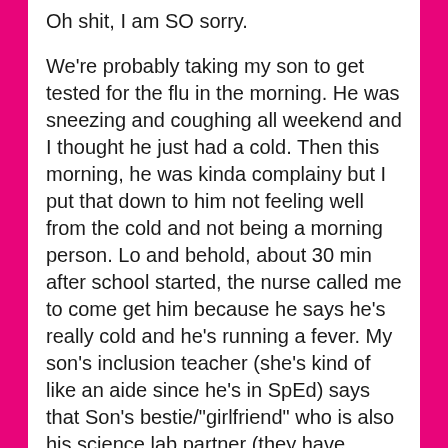Oh shit, I am SO sorry.

We're probably taking my son to get tested for the flu in the morning. He was sneezing and coughing all weekend and I thought he just had a cold. Then this morning, he was kinda complainy but I put that down to him not feeling well from the cold and not being a morning person. Lo and behold, about 30 min after school started, the nurse called me to come get him because he says he's really cold and he's running a fever. My son's inclusion teacher (she's kind of like an aide since he's in SpEd) says that Son's bestie/"girlfriend" who is also his science lab partner (they have science first period) and her twin sister are both out sick with the flu as is his science teacher.

Well poop.